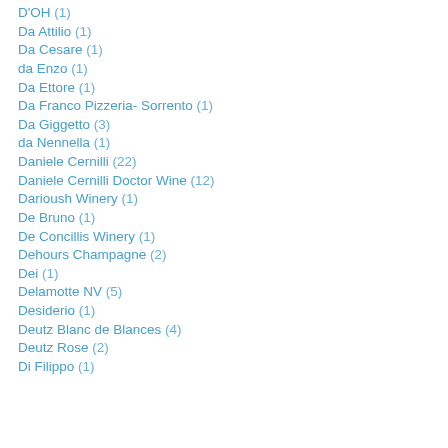D'OH (1)
Da Attilio (1)
Da Cesare (1)
da Enzo (1)
Da Ettore (1)
Da Franco Pizzeria- Sorrento (1)
Da Giggetto (3)
da Nennella (1)
Daniele Cernilli (22)
Daniele Cernilli Doctor Wine (12)
Darioush Winery (1)
De Bruno (1)
De Concillis Winery (1)
Dehours Champagne (2)
Dei (1)
Delamotte NV (5)
Desiderio (1)
Deutz Blanc de Blances (4)
Deutz Rose (2)
Di Filippo (1)